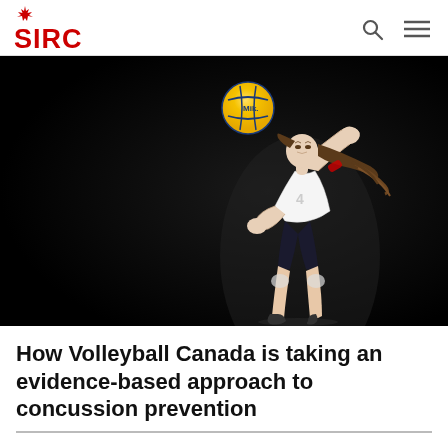SIRC
[Figure (photo): Female volleyball player in white jersey jumping and spiking a yellow and blue volleyball against a black background, hair flying, dramatic sports photography]
How Volleyball Canada is taking an evidence-based approach to concussion prevention